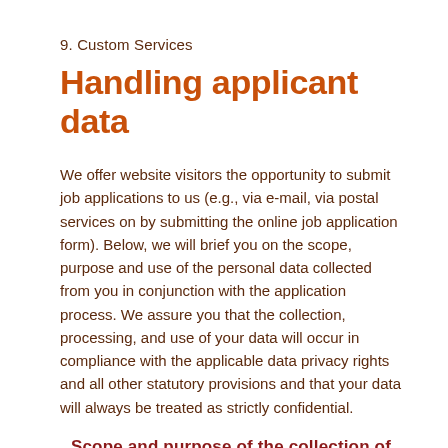9. Custom Services
Handling applicant data
We offer website visitors the opportunity to submit job applications to us (e.g., via e-mail, via postal services on by submitting the online job application form). Below, we will brief you on the scope, purpose and use of the personal data collected from you in conjunction with the application process. We assure you that the collection, processing, and use of your data will occur in compliance with the applicable data privacy rights and all other statutory provisions and that your data will always be treated as strictly confidential.
Scope and purpose of the collection of data